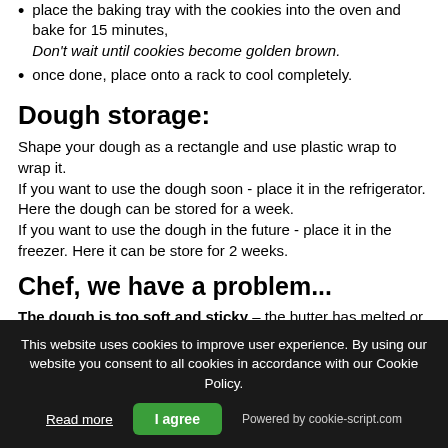place the baking tray with the cookies into the oven and bake for 15 minutes, Don't wait until cookies become golden brown.
once done, place onto a rack to cool completely.
Dough storage:
Shape your dough as a rectangle and use plastic wrap to wrap it.
If you want to use the dough soon - place it in the refrigerator. Here the dough can be stored for a week.
If you want to use the dough in the future - place it in the freezer. Here it can be store for 2 weeks.
Chef, we have a problem...
The dough is too soft and sticky – the butter has melted or you have added too much liquid. What should be done?
This website uses cookies to improve user experience. By using our website you consent to all cookies in accordance with our Cookie Policy. Read more | I agree | Powered by cookie-script.com